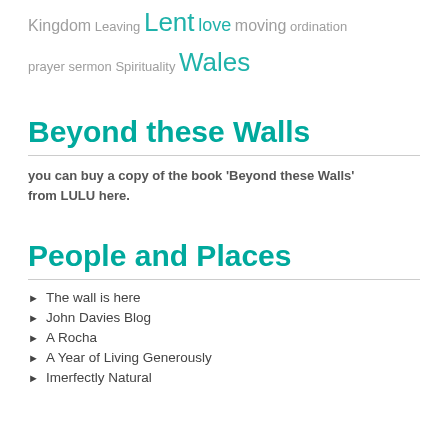Kingdom Leaving Lent love moving ordination prayer sermon Spirituality Wales
Beyond these Walls
you can buy a copy of the book 'Beyond these Walls' from LULU here.
People and Places
The wall is here
John Davies Blog
A Rocha
A Year of Living Generously
Imerfectly Natural